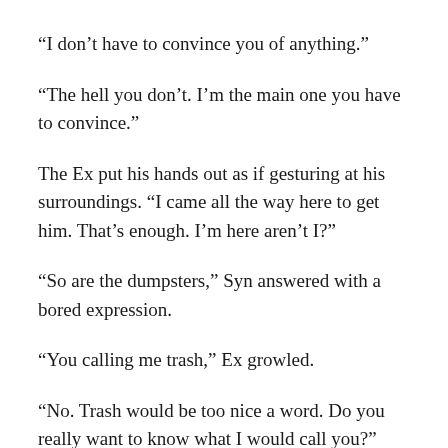“I don’t have to convince you of anything.”
“The hell you don’t. I’m the main one you have to convince.”
The Ex put his hands out as if gesturing at his surroundings. “I came all the way here to get him. That’s enough. I’m here aren’t I?”
“So are the dumpsters,” Syn answered with a bored expression.
“You calling me trash,” Ex growled.
“No. Trash would be too nice a word. Do you really want to know what I would call you?” Syn smirked,